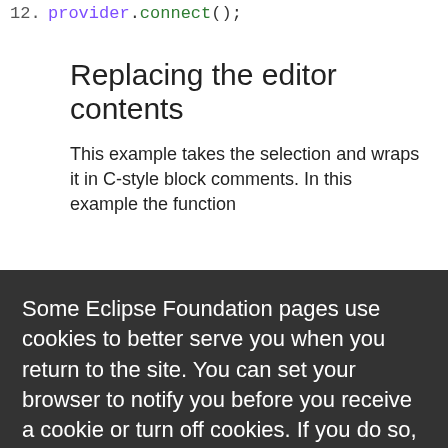12.   provider.connect();
Replacing the editor contents
This example takes the selection and wraps it in C-style block comments. In this example the function
Some Eclipse Foundation pages use cookies to better serve you when you return to the site. You can set your browser to notify you before you receive a cookie or turn off cookies. If you do so, however, some areas of some sites may not function properly. To read Eclipse Foundation Privacy Policy click here.
Decline
Allow cookies